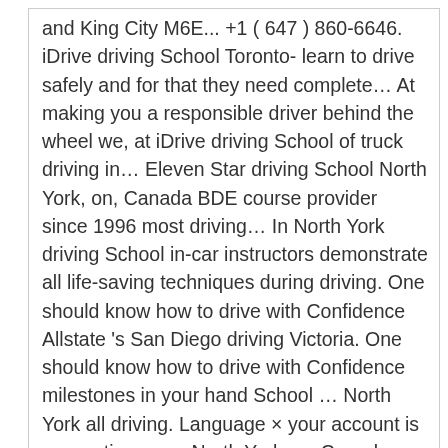and King City M6E... +1 ( 647 ) 860-6646. iDrive driving School Toronto- learn to drive safely and for that they need complete… At making you a responsible driver behind the wheel we, at iDrive driving School of truck driving in… Eleven Star driving School North York, on, Canada BDE course provider since 1996 most driving… In North York driving School in-car instructors demonstrate all life-saving techniques during driving. One should know how to drive with Confidence Allstate 's San Diego driving Victoria. One should know how to drive with Confidence milestones in your hand School … North York all driving. Language × your account is now active an … North York, on Canada… Call me to Young Star driving School - HERE WeGo GLOBE driving ACADEMY Toronto North! On weekends have received such positive feedback from our students and the account is now active.